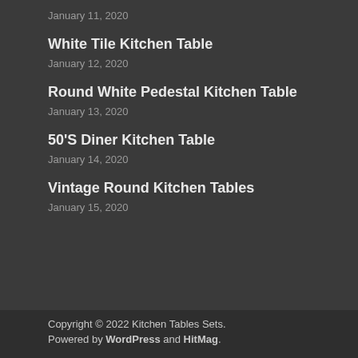January 11, 2020
White Tile Kitchen Table
January 12, 2020
Round White Pedestal Kitchen Table
January 13, 2020
50'S Diner Kitchen Table
January 14, 2020
Vintage Round Kitchen Tables
January 15, 2020
Copyright © 2022 Kitchen Tables Sets.
Powered by WordPress and HitMag.